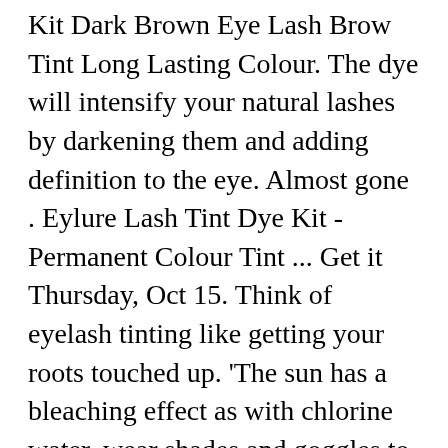Kit Dark Brown Eye Lash Brow Tint Long Lasting Colour. The dye will intensify your natural lashes by darkening them and adding definition to the eye. Almost gone . Eylure Lash Tint Dye Kit - Permanent Colour Tint ... Get it Thursday, Oct 15. Think of eyelash tinting like getting your roots touched up. 'The sun has a bleaching effect as with chlorine water, wear shades and goggles to prevent and use a gentler makeup remover especially around the eyelashes. $20.23. That's it! The trend now is all about darker, thicker looking brows and Eylure Dybrow is the ideal way to get this look for up to 6 weeks. View all How To Videos. By signing up you agree to receive exclusive offers, cult new products, expert advice & content by